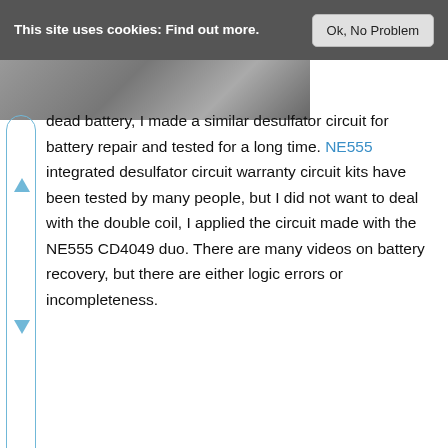This site uses cookies: Find out more.
[Figure (photo): Partial view of a photograph, cropped at the top, showing an indistinct image]
dead battery, I made a similar desulfator circuit for battery repair and tested for a long time. NE555 integrated desulfator circuit warranty circuit kits have been tested by many people, but I did not want to deal with the double coil, I applied the circuit made with the NE555 CD4049 duo. There are many videos on battery recovery, but there are either logic errors or incompleteness.